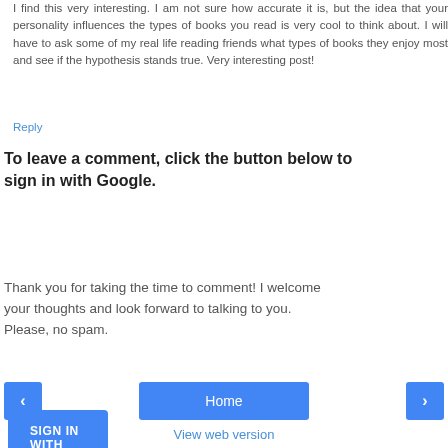I find this very interesting. I am not sure how accurate it is, but the idea that your personality influences the types of books you read is very cool to think about. I will have to ask some of my real life reading friends what types of books they enjoy most and see if the hypothesis stands true. Very interesting post!
Reply
To leave a comment, click the button below to sign in with Google.
[Figure (other): Blue button labeled SIGN IN WITH GOOGLE]
Thank you for taking the time to comment! I welcome your thoughts and look forward to talking to you. Please, no spam.
[Figure (other): Navigation bar with left arrow button, Home button, and right arrow button]
View web version